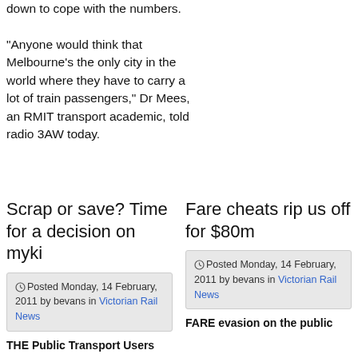down to cope with the numbers.

"Anyone would think that Melbourne's the only city in the world where they have to carry a lot of train passengers," Dr Mees, an RMIT transport academic, told radio 3AW today.
Scrap or save? Time for a decision on myki
Fare cheats rip us off for $80m
Posted Monday, 14 February, 2011 by bevans in Victorian Rail News
Posted Monday, 14 February, 2011 by bevans in Victorian Rail News
THE Public Transport Users
FARE evasion on the public